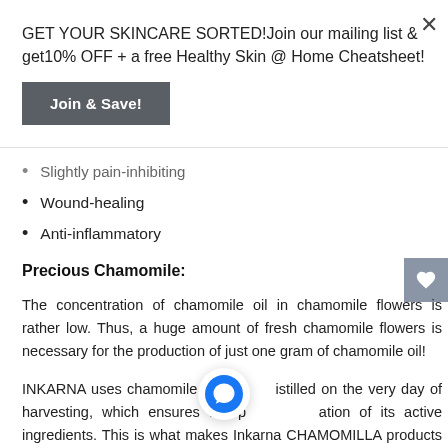GET YOUR SKINCARE SORTED!Join our mailing list & get10% OFF + a free Healthy Skin @ Home Cheatsheet!
Join & Save!
Slightly pain-inhibiting
Wound-healing
Anti-inflammatory
Precious Chamomile:
The concentration of chamomile oil in chamomile flowers is rather low. Thus, a huge amount of fresh chamomile flowers is necessary for the production of just one gram of chamomile oil!
INKARNA uses chamomile o[...] distilled on the very day of harvesting, which ensures the p[...] ation of its active ingredients. This is what makes Inkarna CHAMOMILLA products unique in the